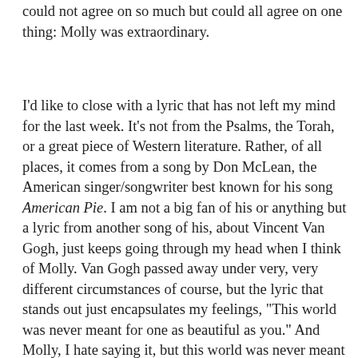could not agree on so much but could all agree on one thing: Molly was extraordinary.
I'd like to close with a lyric that has not left my mind for the last week. It's not from the Psalms, the Torah, or a great piece of Western literature. Rather, of all places, it comes from a song by Don McLean, the American singer/songwriter best known for his song American Pie. I am not a big fan of his or anything but a lyric from another song of his, about Vincent Van Gogh, just keeps going through my head when I think of Molly. Van Gogh passed away under very, very different circumstances of course, but the lyric that stands out just encapsulates my feelings, "This world was never meant for one as beautiful as you." And Molly, I hate saying it, but this world was never meant for one as beautiful as you and I know you are still with us but you are in a better world now. You are with my